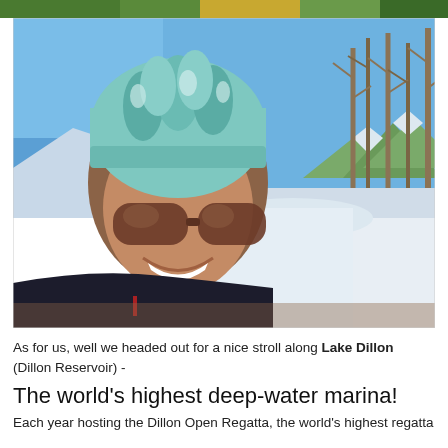[Figure (photo): Partial strip of an outdoor image visible at the top of the page — appears to show greenery and yellow elements from a previous photo above.]
[Figure (photo): A woman wearing a teal/white knitted beanie hat and large brown sunglasses, smiling and taking a selfie outdoors in a snowy winter landscape. She wears a dark puffer jacket. In the background are bare trees, snow-covered ground, blue sky, and snow-capped mountains in the distance — this is along Lake Dillon (Dillon Reservoir) in Colorado.]
As for us, well we headed out for a nice stroll along Lake Dillon (Dillon Reservoir) -
The world's highest deep-water marina!
Each year hosting the Dillon Open Regatta, the world's highest regatta